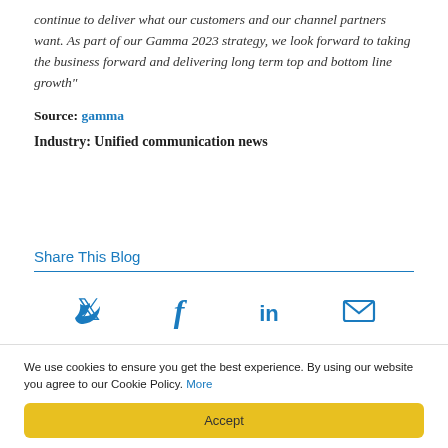continue to deliver what our customers and our channel partners want. As part of our Gamma 2023 strategy, we look forward to taking the business forward and delivering long term top and bottom line growth"
Source: gamma
Industry: Unified communication news
Share This Blog
[Figure (infographic): Social share icons: Twitter (bird), Facebook (f), LinkedIn (in), Email (envelope)]
We use cookies to ensure you get the best experience. By using our website you agree to our Cookie Policy. More
Accept